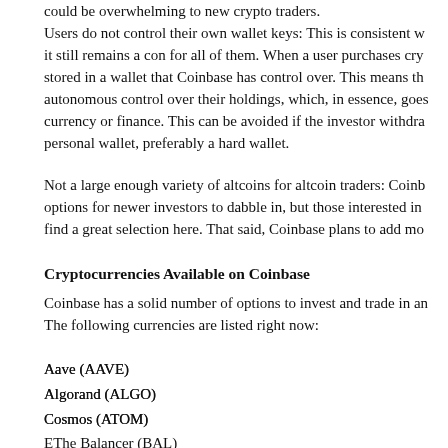could be overwhelming to new crypto traders.
Users do not control their own wallet keys: This is consistent with most exchanges, but it still remains a con for all of them. When a user purchases crypto, it is stored in a wallet that Coinbase has control over. This means that users lack autonomous control over their holdings, which, in essence, goes against crypto currency or finance. This can be avoided if the investor withdraws coins to a personal wallet, preferably a hard wallet.
Not a large enough variety of altcoins for altcoin traders: Coinbase has adequate options for newer investors to dabble in, but those interested in altcoins will not find a great selection here. That said, Coinbase plans to add more.
Cryptocurrencies Available on Coinbase
Coinbase has a solid number of options to invest and trade in and
The following currencies are listed right now:
Aave (AAVE)
Algorand (ALGO)
Cosmos (ATOM)
EThe Balancer (BAL)
Band Protocol (BAND)